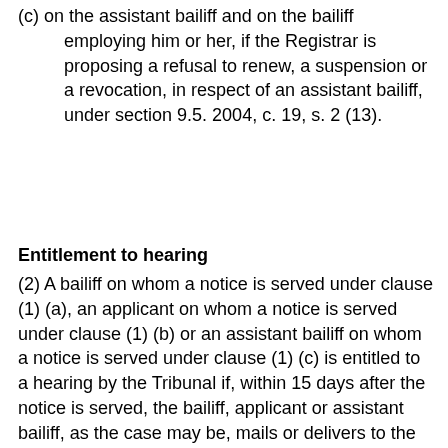(c) on the assistant bailiff and on the bailiff employing him or her, if the Registrar is proposing a refusal to renew, a suspension or a revocation, in respect of an assistant bailiff, under section 9.5. 2004, c. 19, s. 2 (13).
Entitlement to hearing
(2) A bailiff on whom a notice is served under clause (1) (a), an applicant on whom a notice is served under clause (1) (b) or an assistant bailiff on whom a notice is served under clause (1) (c) is entitled to a hearing by the Tribunal if, within 15 days after the notice is served, the bailiff, applicant or assistant bailiff, as the case may be, mails or delivers to the Registrar and the Tribunal a notice in writing requiring a hearing. 2004, c. 19